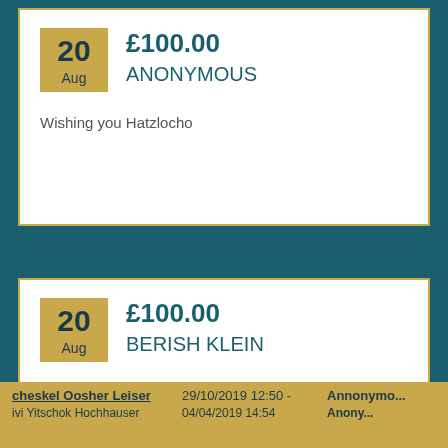£100.00
ANONYMOUS
20 Aug
Wishing you Hatzlocho
£100.00
BERISH KLEIN
20 Aug
Wishing you Hatzlocho
cheskel Oosher Leiser  29/10/2019 12:50 - Annonymous
ivi Yitschok Hochhauser  04/04/2019 14:54  Anony...